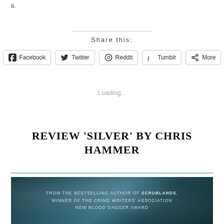ii.
Share this:
Facebook  Twitter  Reddit  Tumblr  More
Loading...
REVIEW 'SILVER' BY CHRIS HAMMER
[Figure (photo): Book cover image with dark teal bokeh background. Text reads: FROM THE BESTSELLING AUTHOR OF SCRUBLANDS, WINNER OF THE CRIME WRITERS' ASSOCIATION NEW BLOOD DAGGER AWARD]